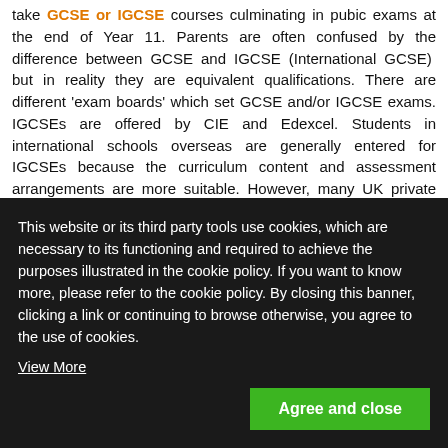take GCSE or IGCSE courses culminating in pubic exams at the end of Year 11. Parents are often confused by the difference between GCSE and IGCSE (International GCSE)  but in reality they are equivalent qualifications. There are different 'exam boards' which set GCSE and/or IGCSE exams. IGCSEs are offered by CIE and Edexcel. Students in international schools overseas are generally entered for IGCSEs because the curriculum content and assessment arrangements are more suitable. However, many UK private schools have also chosen to teach the IGCSE syllabus in certain subjects if they feel it is a better course. Many academically selective schools opted for IGCSEs in recent
This website or its third party tools use cookies, which are necessary to its functioning and required to achieve the purposes illustrated in the cookie policy. If you want to know more, please refer to the cookie policy. By closing this banner, clicking a link or continuing to browse otherwise, you agree to the use of cookies. View More